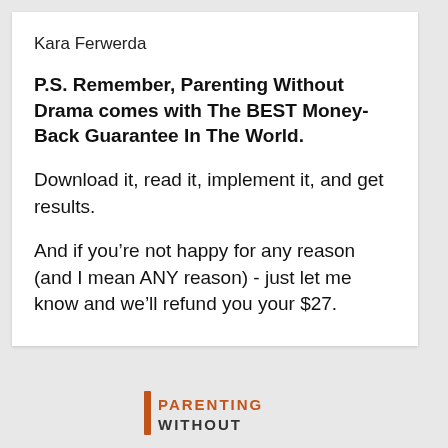Kara Ferwerda
P.S. Remember, Parenting Without Drama comes with The BEST Money-Back Guarantee In The World.
Download it, read it, implement it, and get results.
And if you’re not happy for any reason (and I mean ANY reason) - just let me know and we’ll refund you your $27.
[Figure (logo): Parenting Without Drama logo with orange vertical bar and text PARENTING WITHOUT in orange and dark letters]